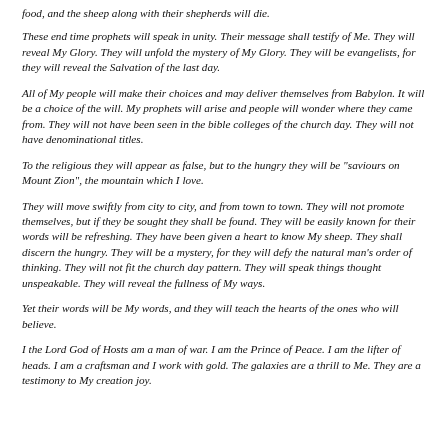food, and the sheep along with their shepherds will die.
These end time prophets will speak in unity. Their message shall testify of Me. They will reveal My Glory. They will unfold the mystery of My Glory. They will be evangelists, for they will reveal the Salvation of the last day.
All of My people will make their choices and may deliver themselves from Babylon. It will be a choice of the will. My prophets will arise and people will wonder where they came from. They will not have been seen in the bible colleges of the church day. They will not have denominational titles.
To the religious they will appear as false, but to the hungry they will be "saviours on Mount Zion", the mountain which I love.
They will move swiftly from city to city, and from town to town. They will not promote themselves, but if they be sought they shall be found. They will be easily known for their words will be refreshing. They have been given a heart to know My sheep. They shall discern the hungry. They will be a mystery, for they will defy the natural man's order of thinking. They will not fit the church day pattern. They will speak things thought unspeakable. They will reveal the fullness of My ways.
Yet their words will be My words, and they will teach the hearts of the ones who will believe.
I the Lord God of Hosts am a man of war. I am the Prince of Peace. I am the lifter of heads. I am a craftsman and I work with gold. The galaxies are a thrill to Me. They are a testimony to My creation joy.